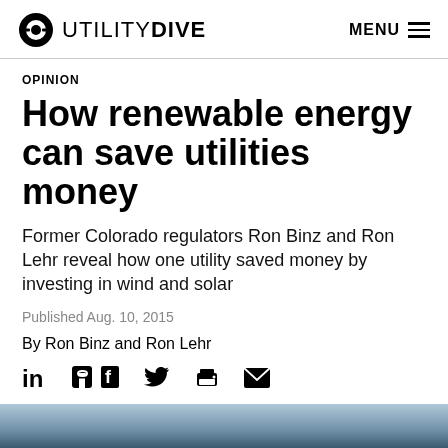UTILITY DIVE  MENU
OPINION
How renewable energy can save utilities money
Former Colorado regulators Ron Binz and Ron Lehr reveal how one utility saved money by investing in wind and solar
Published Aug. 10, 2015
By Ron Binz and Ron Lehr
[Figure (other): Social share icons: LinkedIn, Facebook, Twitter, Print, Email]
[Figure (photo): Bottom landscape photo strip showing sky and land]